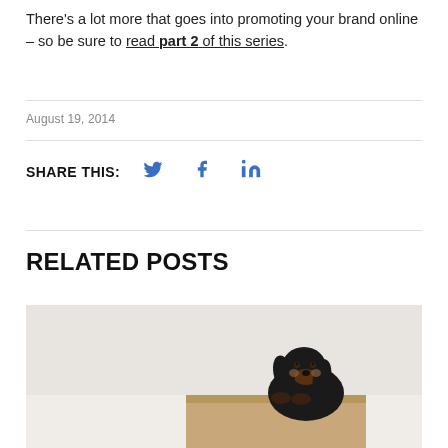There’s a lot more that goes into promoting your brand online – so be sure to read part 2 of this series.
August 19, 2014
SHARE THIS:
RELATED POSTS
[Figure (photo): A black and tan dachshund dog sitting in a cardboard box, looking upward, against a light background.]